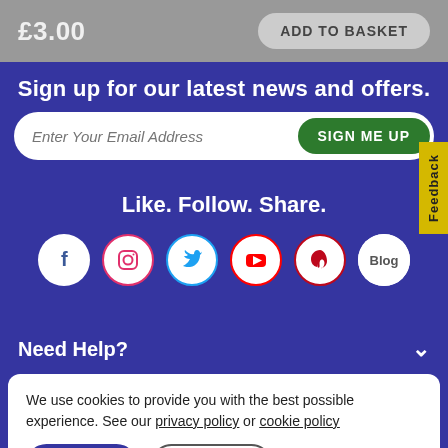£3.00
ADD TO BASKET
Sign up for our latest news and offers.
Enter Your Email Address
SIGN ME UP
Like. Follow. Share.
[Figure (infographic): Row of social media icons: Facebook, Instagram, Twitter, YouTube, Pinterest, Blog]
Feedback
Need Help?
We use cookies to provide you with the best possible experience. See our privacy policy or cookie policy
ACCEPT
DECLINE